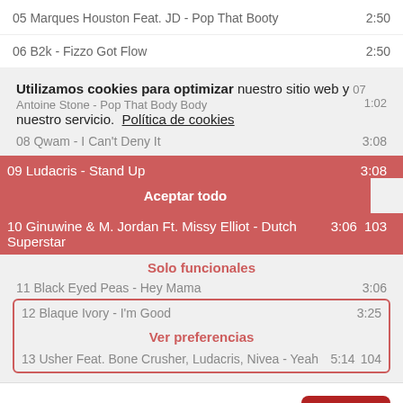05 Marques Houston Feat. JD - Pop That Booty   2:50
06 B2k - Fizzo Got Flow   2:50
Utilizamos cookies para optimizar nuestro sitio web y nuestro servicio.
Política de cookies
07 Antoine Stone - Pop That Body Body   1:02
08 Qwam - I Can't Deny It   3:08
09 Ludacris - Stand Up   3:08
Aceptar todo
10 Ginuwine & M. Jordan Ft. Missy Elliot - Dutch Superstar   3:06   103
Solo funcionales
11 Black Eyed Peas - Hey Mama   3:06
12 Blaque Ivory - I'm Good   3:25
Ver preferencias
13 Usher Feat. Bone Crusher, Ludacris, Nivea - Yeah   5:14   104
14 B2k - Take It To The Floor
Menú
15 Young Gunz - Friday Night   3:41